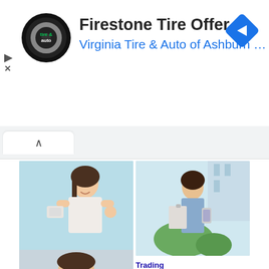[Figure (screenshot): Firestone Tire & Auto advertisement banner with logo circle, title 'Firestone Tire Offer', subtitle 'Virginia Tire & Auto of Ashburn ...', and a blue diamond navigation icon on the right.]
Firestone Tire Offer
Virginia Tire & Auto of Ashburn ...
[Figure (screenshot): Browser tab bar with an up-caret/chevron tab active.]
[Figure (photo): Young Asian woman smiling, holding a calculator in one hand and making an OK gesture with the other, against a light blue background.]
Taxes
An often missed tax deduction
[Figure (photo): Professional woman in a blue shirt holding a clipboard and looking at a phone, outdoors with greenery and buildings in the background.]
Trading
Suggestions on Stock Market Day Trading
[Figure (photo): Partial image at the bottom of the page showing a person, cropped.]